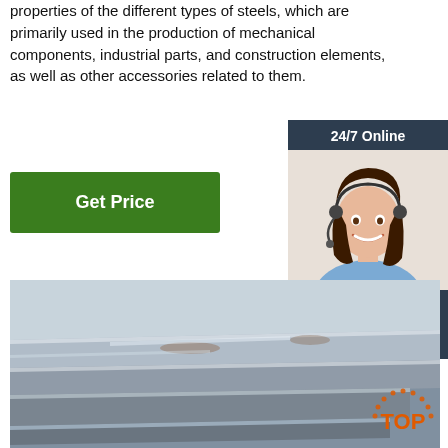properties of the different types of steels, which are primarily used in the production of mechanical components, industrial parts, and construction elements, as well as other accessories related to them.
Get Price
24/7 Online
[Figure (photo): Customer service representative with headset, smiling]
Click here for free chat !
QUOTATION
[Figure (photo): Stacked steel plates/sheets, metallic industrial material]
[Figure (logo): TOP badge/logo in orange with dotted arc]